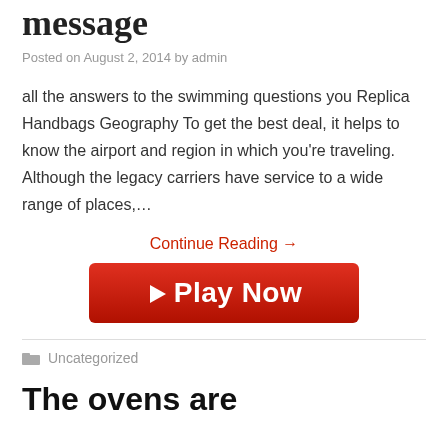message
Posted on August 2, 2014 by admin
all the answers to the swimming questions you Replica Handbags Geography To get the best deal, it helps to know the airport and region in which you're traveling. Although the legacy carriers have service to a wide range of places,…
Continue Reading →
[Figure (other): Red Play Now button with play triangle icon]
Uncategorized
The ovens are